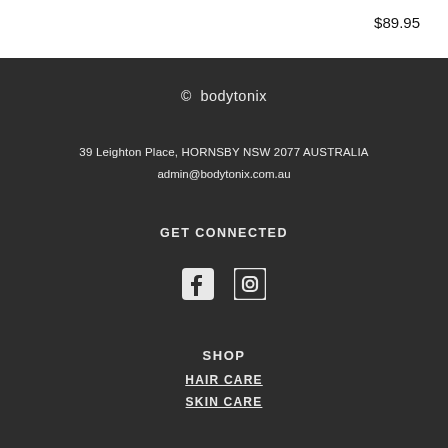$89.95
© bodytonix
39 Leighton Place, HORNSBY NSW 2077 AUSTRALIA
admin@bodytonix.com.au
GET CONNECTED
[Figure (other): Social media icons: Facebook and Instagram]
SHOP
HAIR CARE
SKIN CARE